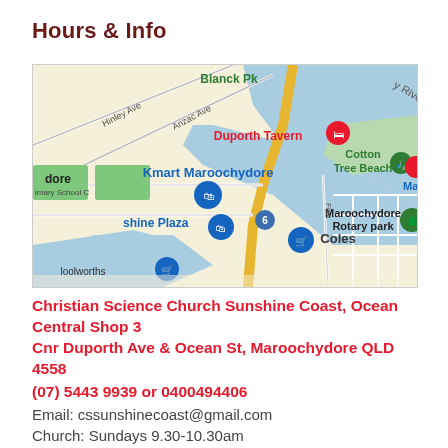Hours & Info
[Figure (map): Google Maps screenshot showing Maroochydore area with landmarks including Kmart Maroochydore, Duporth Tavern, Cotton Tree Beach, Maroochydore Rotary park, Sunshine Plaza, Coles, and nearby streets including Anzac Ave, Hinley Ave, Blanck Pk, and Cotton Tree waterfront.]
Christian Science Church Sunshine Coast, Ocean Central Shop 3
Cnr Duporth Ave & Ocean St, Maroochydore QLD 4558
(07) 5443 9939 or 0400494406
Email: cssunshinecoast@gmail.com
Church: Sundays 9.30-10.30am